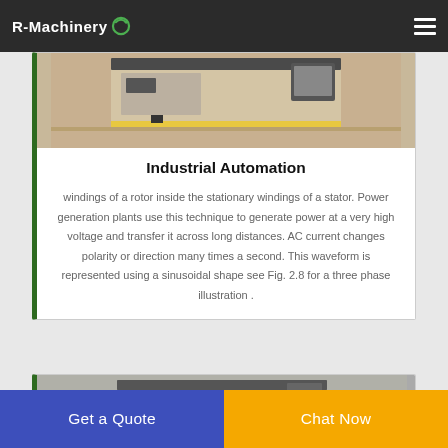R-Machinery
[Figure (photo): Industrial machinery photo at top of card — laser cutting or CNC machine on a workbench]
Industrial Automation
windings of a rotor inside the stationary windings of a stator. Power generation plants use this technique to generate power at a very high voltage and transfer it across long distances. AC current changes polarity or direction many times a second. This waveform is represented using a sinusoidal shape see Fig. 2.8 for a three phase illustration .
[Figure (photo): Second card image partially visible at bottom — appears to be another industrial machine]
Get a Quote
Chat Now